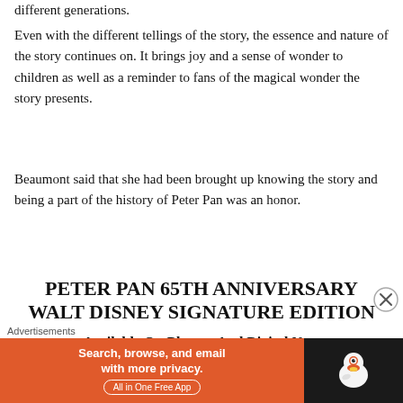different generations.
Even with the different tellings of the story, the essence and nature of the story continues on. It brings joy and a sense of wonder to children as well as a reminder to fans of the magical wonder the story presents.
Beaumont said that she had been brought up knowing the story and being a part of the history of Peter Pan was an honor.
PETER PAN 65TH ANNIVERSARY WALT DISNEY SIGNATURE EDITION
Available On Blu-ray And Digital Now
Follow and interact with Jesus:
Advertisements
[Figure (screenshot): DuckDuckGo advertisement banner: orange background with text 'Search, browse, and email with more privacy. All in One Free App' and DuckDuckGo duck logo on dark background.]